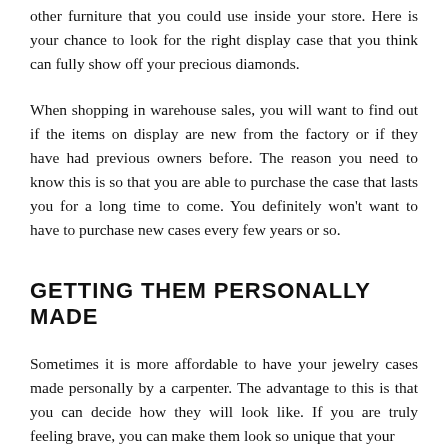other furniture that you could use inside your store. Here is your chance to look for the right display case that you think can fully show off your precious diamonds.
When shopping in warehouse sales, you will want to find out if the items on display are new from the factory or if they have had previous owners before. The reason you need to know this is so that you are able to purchase the case that lasts you for a long time to come. You definitely won't want to have to purchase new cases every few years or so.
GETTING THEM PERSONALLY MADE
Sometimes it is more affordable to have your jewelry cases made personally by a carpenter. The advantage to this is that you can decide how they will look like. If you are truly feeling brave, you can make them look so unique that your